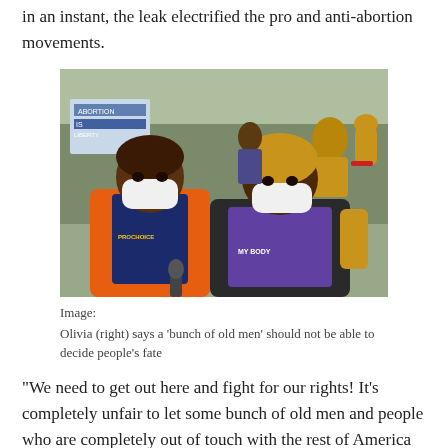in an instant, the leak electrified the pro and anti-abortion movements.
[Figure (photo): Two Black women wearing white face masks and pro-choice shirts at a protest rally. One wears an orange jacket over a PROCHOICE shirt; the other wears a black jacket over a 'MY BODY' shirt. Protesters with signs including 'ABORTION IS LIBERTY' are visible in the background.]
Image:
Olivia (right) says a ‘bunch of old men’ should not be able to decide people’s fate
“We need to get out here and fight for our rights! It’s completely unfair to let some bunch of old men and people who are completely out of touch with the rest of America choose our fate,” marcher Olivia told me